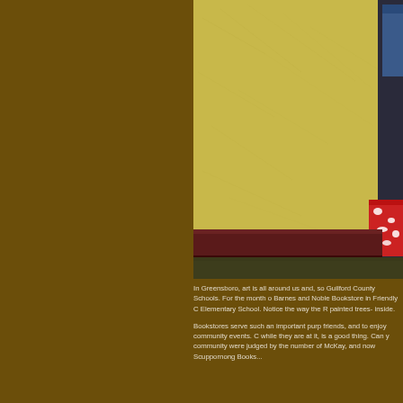[Figure (photo): Interior photo showing a yellow textured wall with dark wood baseboard trim at the bottom, olive/dark green carpet floor, and a red-and-white decorative cup or container visible at the right edge. Blue objects partially visible at top right.]
In Greensboro, art is all around us and, so Guilford County Schools. For the month o Barnes and Noble Bookstore in Friendly C Elementary School. Notice the way the R painted trees- inside.
Bookstores serve such an important purp friends, and to enjoy community events. C while they are at it, is a good thing. Can y community were judged by the number of McKay, and now Scuppornong Books...